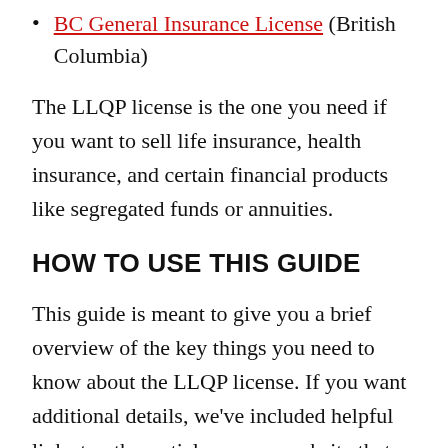BC General Insurance License (British Columbia)
The LLQP license is the one you need if you want to sell life insurance, health insurance, and certain financial products like segregated funds or annuities.
HOW TO USE THIS GUIDE
This guide is meant to give you a brief overview of the key things you need to know about the LLQP license. If you want additional details, we've included helpful links to other articles on our website that contain more in-depth information